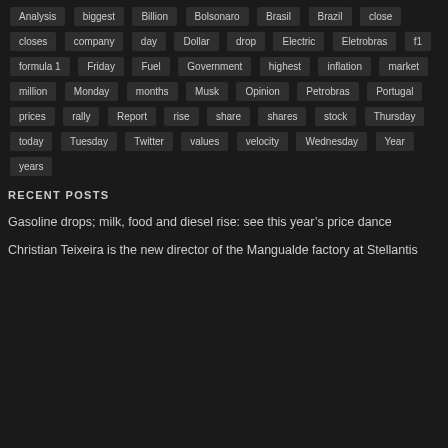Analysis
biggest
Billion
Bolsonaro
Brasil
Brazil
close
closes
company
day
Dollar
drop
Electric
Eletrobras
f1
formula 1
Friday
Fuel
Government
highest
inflation
market
million
Monday
months
Musk
Opinion
Petrobras
Portugal
prices
rally
Report
rise
share
shares
stock
Thursday
today
Tuesday
Twitter
values
velocity
Wednesday
Year
years
RECENT POSTS
Gasoline drops; milk, food and diesel rise: see this year’s price dance
Christian Teixeira is the new director of the Mangualde factory at Stellantis